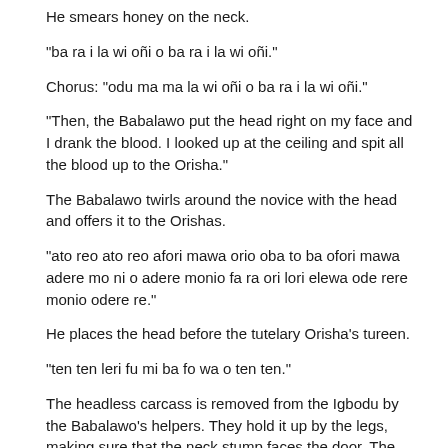He smears honey on the neck.
"ba ra i la wi oñi o ba ra i la wi oñi."
Chorus: "odu ma ma la wi oñi o ba ra i la wi oñi."
"Then, the Babalawo put the head right on my face and I drank the blood. I looked up at the ceiling and spit all the blood up to the Orisha."
The Babalawo twirls around the novice with the head and offers it to the Orishas.
"ato reo ato reo afori mawa orio oba to ba ofori mawa adere mo ni o adere monio fa ra ori lori elewa ode rere monio odere re."
He places the head before the tutelary Orisha's tureen.
"ten ten leri fu mi ba fo wa o ten ten."
The headless carcass is removed from the Igbodu by the Babalawo's helpers. They hold it up by the legs, making sure that the neck stump faces the door. The Babalawo places a rooster or a coconut between its rear legs.
"wo ekun eni le wo ekun eni le wo ekun eni le."